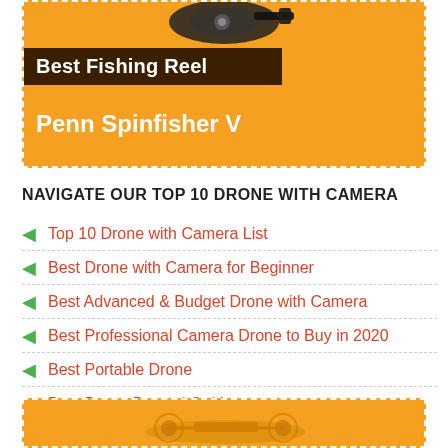[Figure (infographic): Orange banner with product image at top (partially visible fishing reel), dark brown title bar reading 'Best Fishing Reel', and orange subtitle reading 'Penn Spinfisher V']
NAVIGATE OUR TOP 10 DRONE WITH CAMERA
Top 10 Drone with Camera List
Best Drone with Camera for Beginner
Best Advanced & Budget Drone with Camera
Best Professional Camera Drone to Buy in 2020
Best Portable Drone
Best Drone Buyers' Guide
[Figure (infographic): Orange banner at bottom of page with drone image partially visible]